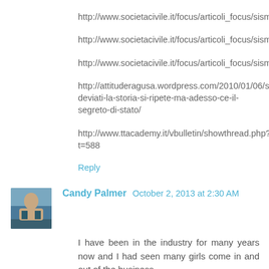http://www.societacivile.it/focus/articoli_focus/sismi1.html
http://www.societacivile.it/focus/articoli_focus/sismi3.html
http://www.societacivile.it/focus/articoli_focus/sismi4.html
http://attituderagusa.wordpress.com/2010/01/06/servizi-deviati-la-storia-si-ripete-ma-adesso-ce-il-segreto-di-stato/
http://www.ttacademy.it/vbulletin/showthread.php?t=588
Reply
Candy Palmer  October 2, 2013 at 2:30 AM
I have been in the industry for many years now and I had seen many girls come in and out of the business.
Darwin Escorts
Reply